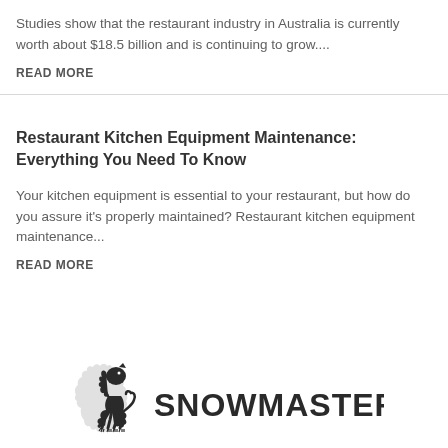Studies show that the restaurant industry in Australia is currently worth about $18.5 billion and is continuing to grow....
READ MORE
Restaurant Kitchen Equipment Maintenance: Everything You Need To Know
Your kitchen equipment is essential to your restaurant, but how do you assure it's properly maintained? Restaurant kitchen equipment maintenance...
READ MORE
[Figure (logo): Snowmaster logo with a heraldic lion graphic and the text SNOWMASTER in bold sans-serif lettering]